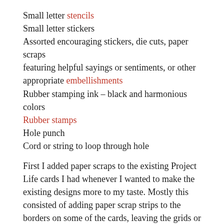Small letter stencils
Small letter stickers
Assorted encouraging stickers, die cuts, paper scraps featuring helpful sayings or sentiments, or other appropriate embellishments
Rubber stamping ink – black and harmonious colors
Rubber stamps
Hole punch
Cord or string to loop through hole
First I added paper scraps to the existing Project Life cards I had whenever I wanted to make the existing designs more to my taste. Mostly this consisted of adding paper scrap strips to the borders on some of the cards, leaving the grids or lines in view. Some of the cards were fine the way they were.
Next I assembled a variety of letter stickers from my collection that spelled G.R.A.P.E.S. For more variety, I drew